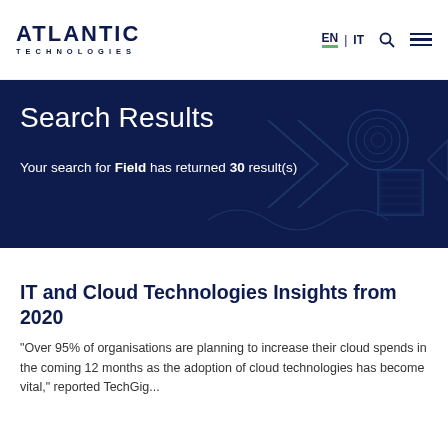[Figure (logo): Atlantic Technologies logo with bold 'ATLANTIC' text and 'TECHNOLOGIES' subtitle in dark navy blue]
EN | IT
Search Results
Your search for Field has returned 30 result(s)
IT and Cloud Technologies Insights from 2020
"Over 95% of organisations are planning to increase their cloud spends in the coming 12 months as the adoption of cloud technologies has become vital," reported TechGig...